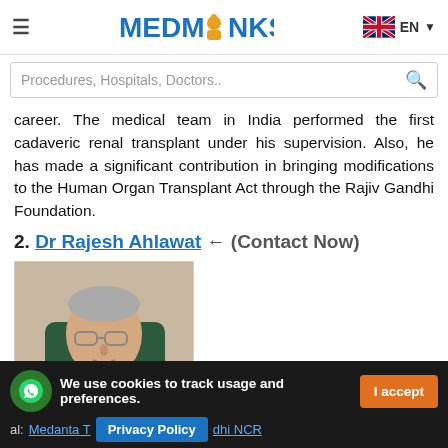MEDMONKS — EN (language selector) — hamburger menu
Procedures, Hospitals, Doctors.. (search bar)
career. The medical team in India performed the first cadaveric renal transplant under his supervision. Also, he has made a significant contribution in bringing modifications to the Human Organ Transplant Act through the Rajiv Gandhi Foundation.
2. Dr Rajesh Ahlawat ← (Contact Now)
[Figure (photo): Photo of Dr Rajesh Ahlawat, an elderly male doctor wearing a white coat, seated in a clinical setting]
We use cookies to track usage and preferences. I accept
al: Medanta T... dhi NCR — Privacy Policy